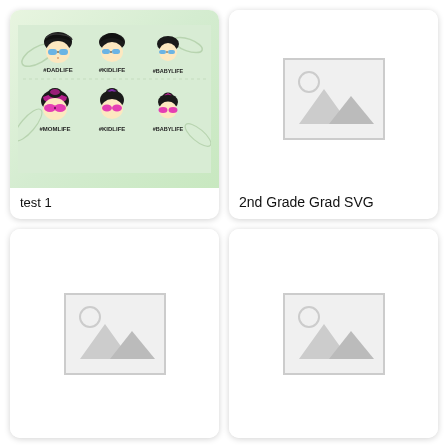[Figure (illustration): Product card showing family life SVG designs with Dad, Kid, Baby life (male figures with sunglasses) and Mom, Kid, Baby life (female figures with sunglasses and colorful hairbands), hashtag labels, on a floral background]
test 1
[Figure (photo): Placeholder image icon showing mountains and sun outline in gray]
2nd Grade Grad SVG
[Figure (photo): Placeholder image icon showing mountains and sun outline in gray]
[Figure (photo): Placeholder image icon showing mountains and sun outline in gray]